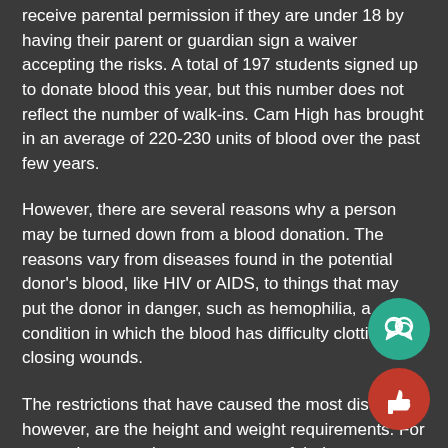receive parental permission if they are under 18 by having their parent or guardian sign a waiver accepting the risks. A total of 197 students signed up to donate blood this year, but this number does not reflect the number of walk-ins. Cam High has brought in an average of 220-230 units of blood over the past few years.
However, there are several reasons why a person may be turned down from a blood donation. The reasons vary from diseases found in the potential donor's blood, like HIV or AIDS, to things that may put the donor in danger, such as hemophilia, a condition in which the blood has difficulty clotting and closing wounds.
The restrictions that have caused the most distress, however, are the height and weight requirements. For many, these requirements are out of their range, resulting in widespread disappointment among potential donors when they can't be a part of the service.  Some students wish the guidelines were easier to attain for those just under the required weight of their height bracket.